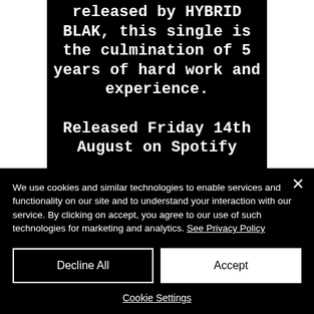released by HYBRID BLAK, this single is the culmination of 5 years of hard work and experience.
Released Friday 14th August on Spotify
We use cookies and similar technologies to enable services and functionality on our site and to understand your interaction with our service. By clicking on accept, you agree to our use of such technologies for marketing and analytics. See Privacy Policy
Decline All
Accept
Cookie Settings